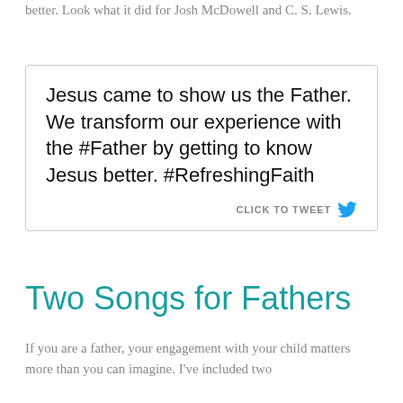better. Look what it did for Josh McDowell and C. S. Lewis.
Jesus came to show us the Father. We transform our experience with the #Father by getting to know Jesus better. #RefreshingFaith
Two Songs for Fathers
If you are a father, your engagement with your child matters more than you can imagine. I've included two